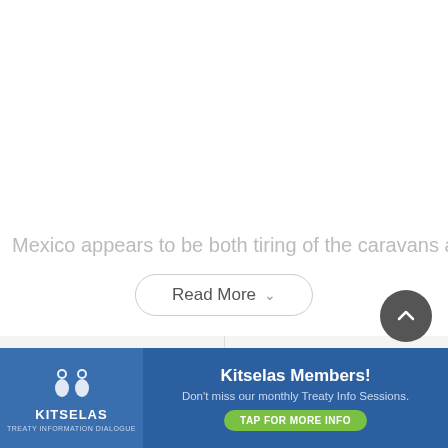Mexico appears to be both tiring of the caravans and eager
Read More
‹ Previous story
Next story ›
[Figure (other): Scroll to top button — dark grey circular button with upward chevron arrow]
[Figure (other): Kitselas Members advertisement banner — blue background, Kitselas logo on left, text: Kitselas Members! Don't miss our monthly Treaty Info Sessions. TAP FOR MORE INFO.]